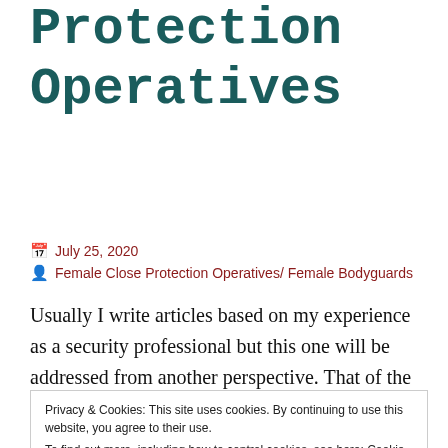Protection Operatives
July 25, 2020
Female Close Protection Operatives/ Female Bodyguards
Usually I write articles based on my experience as a security professional but this one will be addressed from another perspective. That of the person who has a degree in Psychology and has also spent many hours studying
Privacy & Cookies: This site uses cookies. By continuing to use this website, you agree to their use.
To find out more, including how to control cookies, see here: Cookie Policy
Close and accept